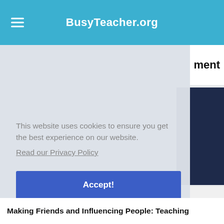BusyTeacher.org
This website uses cookies to ensure you get the best experience on our website.
Read our Privacy Policy
Accept!
Making Friends and Influencing People: Teaching